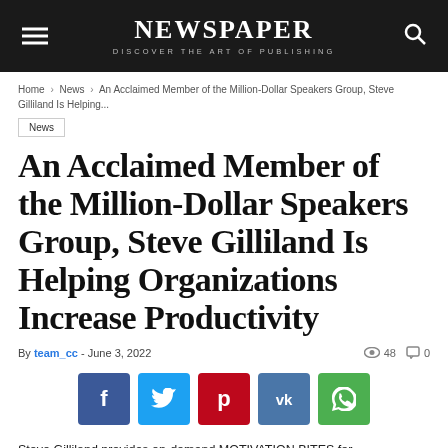NEWSPAPER — DISCOVER THE ART OF PUBLISHING
Home › News › An Acclaimed Member of the Million-Dollar Speakers Group, Steve Gilliland Is Helping...
News
An Acclaimed Member of the Million-Dollar Speakers Group, Steve Gilliland Is Helping Organizations Increase Productivity
By team_cc - June 3, 2022   48   0
[Figure (infographic): Social share buttons: Facebook, Twitter, Pinterest, VK, WhatsApp]
Steve Gilliland provides on-demand MOTIVATION BITES for